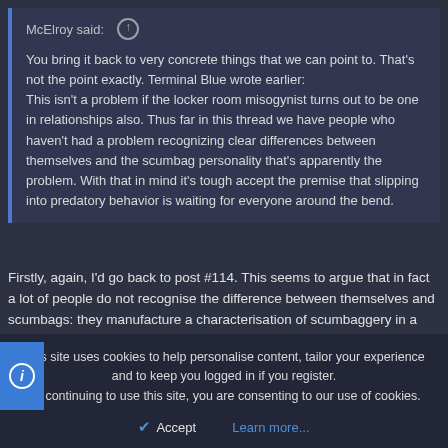McElroy said: ↑
You bring it back to very concrete things that we can point to. That's not the point exactly. Terminal Blue wrote earlier:
This isn't a problem if the locker room misogynist turns out to be one in relationships also. Thus far in this thread we have people who haven't had a problem recognizing clear differences between themselves and the scumbag personality that's apparently the problem. With that in mind it's tough accept the premise that slipping into predatory behavior is waiting for everyone around the bend.
Firstly, again, I'd go back to post #114. This seems to argue that in fact a lot of people do not recognise the difference between themselves and scumbags: they manufacture a characterisation of scumbaggery in a way that conveniently omits stuff (chiefly, I suspect, them and theirs). And again, refer to my comment about the policeman who raped and murdered a woman in London last year. He said and did things other officers didn't seem to think problematic; a reason for this being that they were...
This site uses cookies to help personalise content, tailor your experience and to keep you logged in if you register.
By continuing to use this site, you are consenting to our use of cookies.
Accept
Learn more...